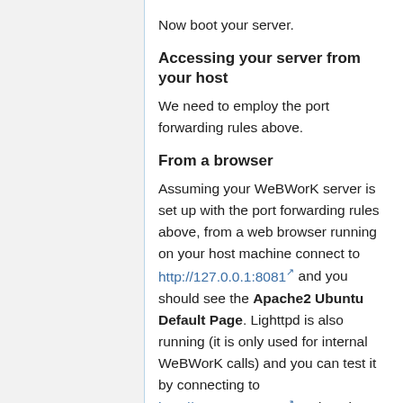Now boot your server.
Accessing your server from your host
We need to employ the port forwarding rules above.
From a browser
Assuming your WeBWorK server is set up with the port forwarding rules above, from a web browser running on your host machine connect to http://127.0.0.1:8081 and you should see the Apache2 Ubuntu Default Page. Lighttpd is also running (it is only used for internal WeBWorK calls) and you can test it by connecting to http://127.0.0.1:8080 and again you should see the Apache2 Ubuntu Default Page (but now you will not see a graphic for the Ubuntu Logo). To test